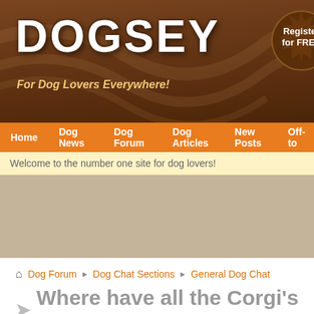[Figure (screenshot): Dogsey website header with brown background, DOGSEY logo in white, tagline 'For Dog Lovers Everywhere!', Register for FREE badge, and Username input field]
Home | Dog News | Dog Forum | Dog Articles | New Posts | Off-to
Welcome to the number one site for dog lovers!
[Figure (other): Advertisement banner area in tan/beige color]
Dog Forum › Dog Chat Sections › General Dog Chat
Where have all the Corgi's gone.
Reply
Heather and Zak